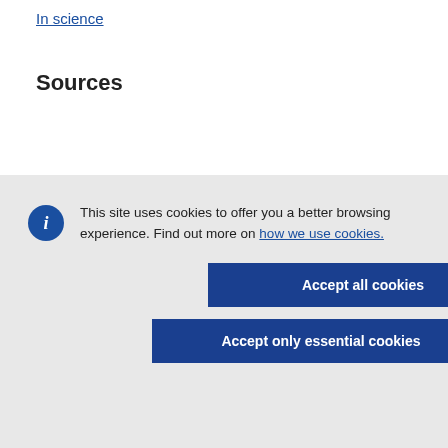In science
Sources
This site uses cookies to offer you a better browsing experience. Find out more on how we use cookies.
Accept all cookies
Accept only essential cookies